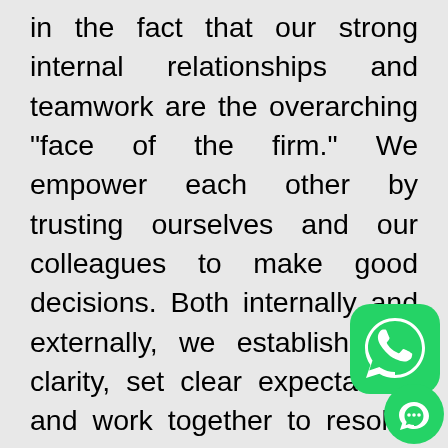in the fact that our strong internal relationships and teamwork are the overarching “face of the firm.” We empower each other by trusting ourselves and our colleagues to make good decisions. Both internally and externally, we establish role clarity, set clear expectations and work together to resolve confusion. We also establish clear and respectful boundaries in all our relationships. The consummate service our clients experience stems from our commitment to building meaningful, respectful relationships. We take pride in the fact that our strong internal relationships and teamwork are the overarching “face of the firm.” We empower each other by trusting ourselves and our colleagues to make good decisions. Both internally and externally, we establish role clarity, set clear expectations and work together to resolve confusion. We also establish clear and respectful
[Figure (logo): WhatsApp green icon with phone symbol]
[Figure (logo): Green chat bubble icon]